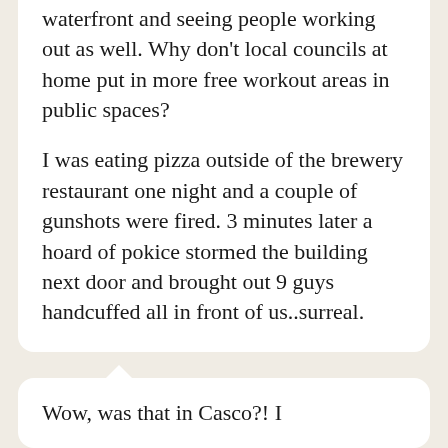waterfront and seeing people working out as well. Why don't local councils at home put in more free workout areas in public spaces?

I was eating pizza outside of the brewery restaurant one night and a couple of gunshots were fired. 3 minutes later a hoard of pokice stormed the building next door and brought out 9 guys handcuffed all in front of us..surreal.
REPLY
Alex
March 12 2014
Wow, was that in Casco?! I